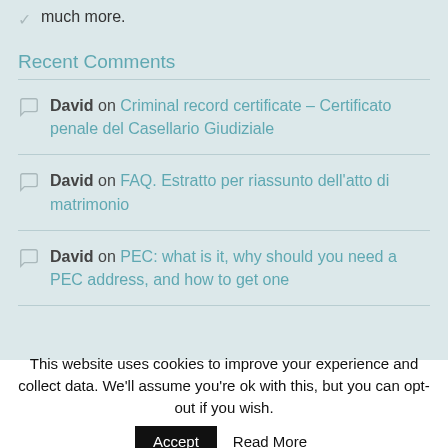much more.
Recent Comments
David on Criminal record certificate – Certificato penale del Casellario Giudiziale
David on FAQ. Estratto per riassunto dell'atto di matrimonio
David on PEC: what is it, why should you need a PEC address, and how to get one
This website uses cookies to improve your experience and collect data. We'll assume you're ok with this, but you can opt-out if you wish.